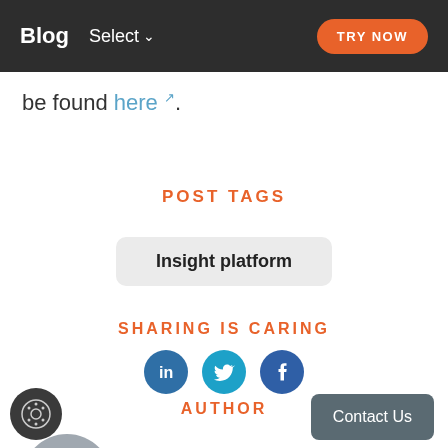Blog  Select  TRY NOW
be found here ↗.
POST TAGS
Insight platform
SHARING IS CARING
[Figure (illustration): Three social media icons: LinkedIn (dark blue circle), Twitter (cyan circle), Facebook (dark blue circle)]
AUTHOR
[Figure (photo): Gray circular avatar with a generic person silhouette]
[Figure (illustration): Dark circular cookie/settings icon button in bottom left]
Contact Us